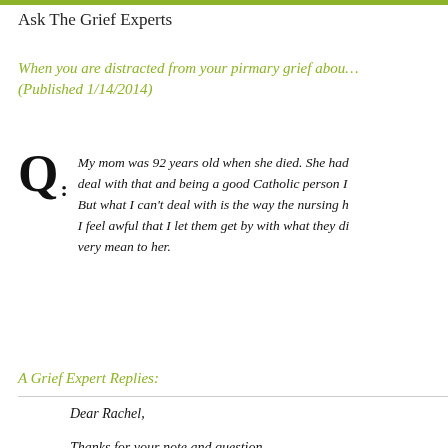Ask The Grief Experts
When you are distracted from your pirmary grief abou… (Published 1/14/2014)
Q: My mom was 92 years old when she died. She had deal with that and being a good Catholic person I But what I can't deal with is the way the nursing h I feel awful that I let them get by with what they di very mean to her.
A Grief Expert Replies:
Dear Rachel,
Thanks for your note and question.